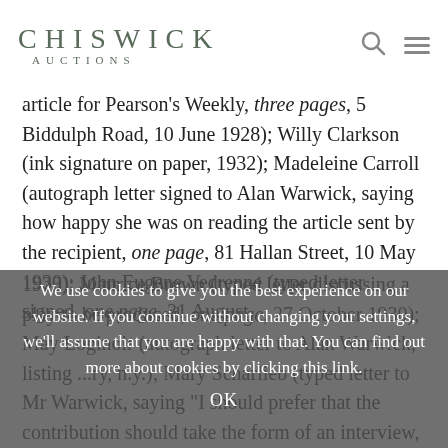CHISWICK AUCTIONS
article for Pearson's Weekly, three pages, 5 Biddulph Road, 10 June 1928); Willy Clarkson (ink signature on paper, 1932); Madeleine Carroll (autograph letter signed to Alan Warwick, saying how happy she was on reading the article sent by the recipient, one page, 81 Hallan Street, 10 May 1930); John Eugene Vedrenne (typed letter signed, one page, 31 August 1923); Maurice Brown (typed letter discussing a play to be produced, one page, 27 October 1930); May Loginoir (autograph letter to Alan Warwick, listing ...ry, n.y.); Mary Scharlieb (typed letter to Mr Warwick, saying "I should prefer that the contribution should take the form of an interview, it is practically
We use cookies to give you the best experience on our website. If you continue without changing your settings, we'll assume that you are happy with that. You can find out more about cookies by clicking this link.
OK